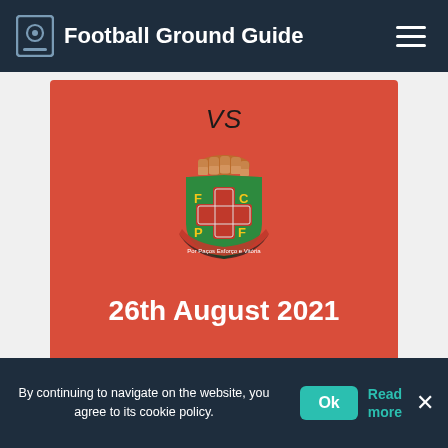Football Ground Guide
[Figure (logo): FC Paços de Ferreira football club crest with green and red design, letters FC P F, cross motif, and banner text 'Por Paços Esforço e Vitória']
VS
26th August 2021
No odds currently available - check again later
By continuing to navigate on the website, you agree to its cookie policy.